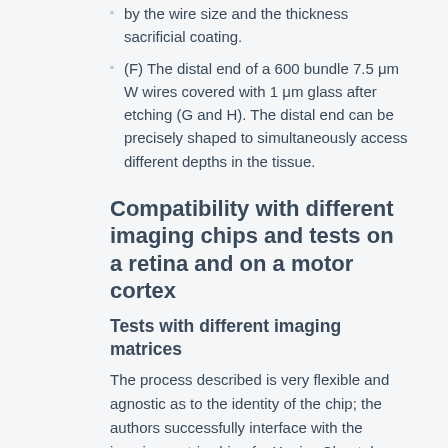by the wire size and the thickness sacrificial coating.
(F) The distal end of a 600 bundle 7.5 μm W wires covered with 1 μm glass after etching (G and H). The distal end can be precisely shaped to simultaneously access different depths in the tissue.
Compatibility with different imaging chips and tests on a retina and on a motor cortex
Tests with different imaging matrices
The process described is very flexible and agnostic as to the identity of the chip; the authors successfully interface with the imaging matrix chip of a Xenics Cheetah camera, with an organic light emitting diode display chip from Olightek and with a multi-electrode matrix device.
Retina